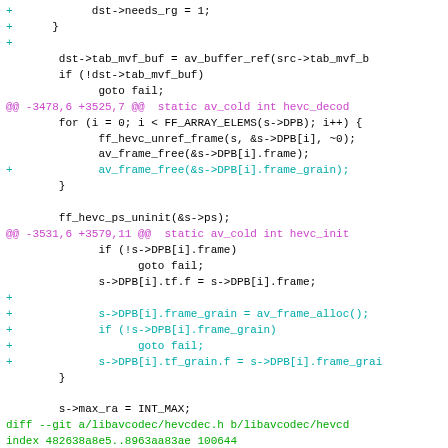[Figure (screenshot): A code diff screenshot showing changes to libavcodec/hevcdec.c and hevcdec.h files in a git patch format. Lines with '+' are additions shown in cyan/teal, hunk headers shown in magenta, diff file headers shown in green, and normal context lines in black.]